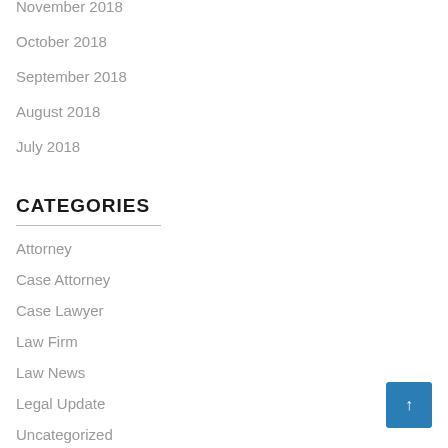November 2018
October 2018
September 2018
August 2018
July 2018
CATEGORIES
Attorney
Case Attorney
Case Lawyer
Law Firm
Law News
Legal Update
Uncategorized